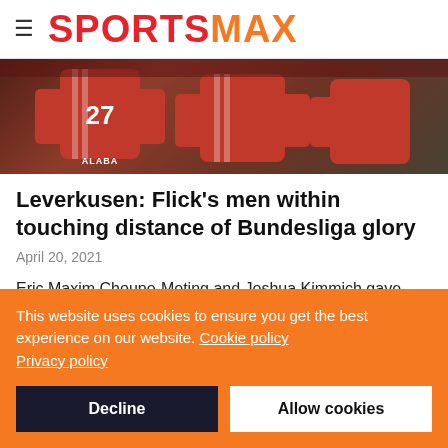SPORTSMAX
[Figure (photo): Bayern Munich players in red jerseys, one labeled ALABA with number 27]
Leverkusen: Flick's men within touching distance of Bundesliga glory
April 20, 2021
Eric Maxim Choupo-Moting and Joshua Kimmich gave Bayern Munich a 2-0 win over Bayer Leverkusen and put them on the brink of a ninth consecutive Bundesliga title.
This website uses cookies to ensure you get the best experience on our website. Cookie policy Privacy policy
Decline
Allow cookies